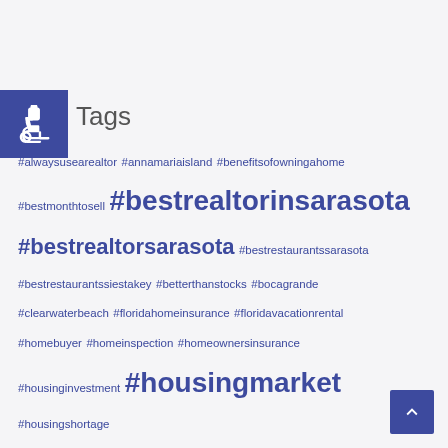[Figure (illustration): Blue accessibility wheelchair icon on dark blue square background]
Tags
#alwaysusearealtor #annamariaisland #benefitsofowningahome #bestmonthtosell #bestrealtorinsarasota #bestrealtorsarasota #bestrestaurantssarasota #bestrestaurantssiestakey #betterthanstocks #bocagrande #clearwaterbeach #floridahomeinsurance #floridavacationrental #homebuyer #homeinspection #homeownersinsurance #housinginvestment #housingmarket #housingshortage #insuranceclaim #internationalbuyers #lakewoodranchhousingboom #lakewoodranchmovers #longboatkeyrealtor #luxuryrealestate #manasotakey #pineviewschoolhomes #pineviewschoolneighborhoods #pricesgoingup #pricingyourhome